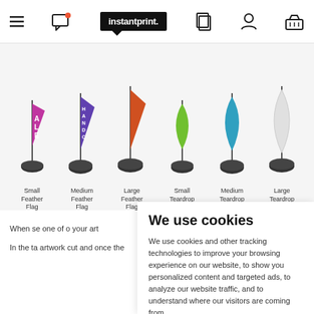instantprint. navigation header with menu, chat, logo, pages, account, basket icons
[Figure (photo): Six flag banners on weighted bases: Small Feather Flag (pink/magenta with ALE text), Medium Feather Flag (purple with HAND C text), Large Feather Flag (orange), Small Teardrop Flag (green), Medium Teardrop Flag (teal/blue), Large Teardrop Flag (white/grey). Each flag stands on a black circular weighted base.]
Small Feather Flag
Medium Feather Flag
Large Feather Flag
Small Teardrop Flag
Medium Teardrop Flag
Large Teardrop Flag
When se one of o your art
In the ta artwork cut and once the
We use cookies
We use cookies and other tracking technologies to improve your browsing experience on our website, to show you personalized content and targeted ads, to analyze our website traffic, and to understand where our visitors are coming from.